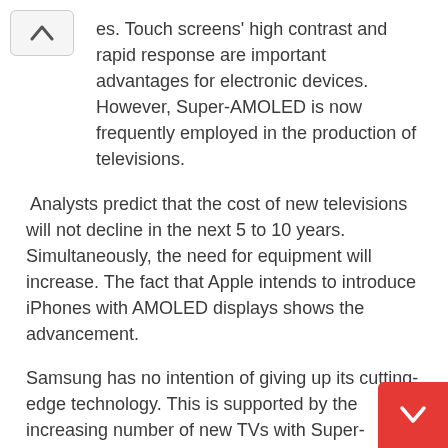es. Touch screens' high contrast and rapid response are important advantages for electronic devices. However, Super-AMOLED is now frequently employed in the production of televisions.
Analysts predict that the cost of new televisions will not decline in the next 5 to 10 years. Simultaneously, the need for equipment will increase. The fact that Apple intends to introduce iPhones with AMOLED displays shows the advancement.
Samsung has no intention of giving up its cutting-edge technology. This is supported by the increasing number of new TVs with Super-AMOLED panels. They are considered high-end household appliances.
AMOLED Features
Despite its shortcomings, AMOLED technology is gaining stronghold in the smartphone industry. IPS panels are